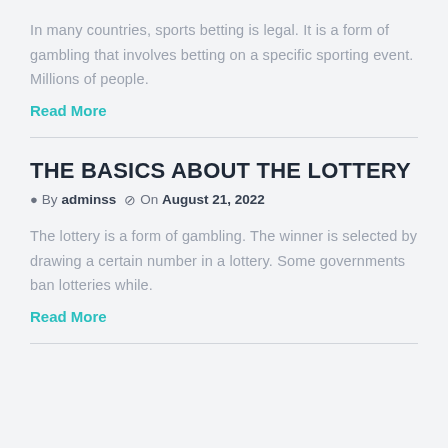In many countries, sports betting is legal. It is a form of gambling that involves betting on a specific sporting event. Millions of people.
Read More
THE BASICS ABOUT THE LOTTERY
By adminss  On August 21, 2022
The lottery is a form of gambling. The winner is selected by drawing a certain number in a lottery. Some governments ban lotteries while.
Read More